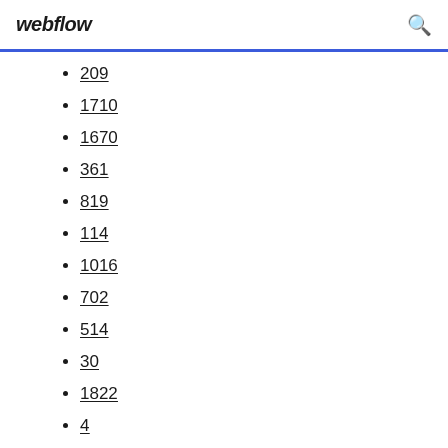webflow
209
1710
1670
361
819
114
1016
702
514
30
1822
4